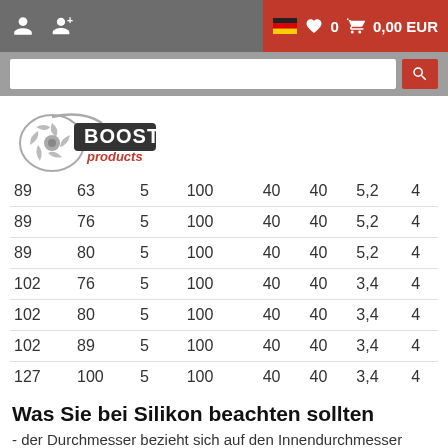0  0,00 EUR
[Figure (logo): Boost Products logo with turbocharger graphic]
| 89 | 63 | 5 | 100 | 40 | 40 | 5,2 | 4 |
| 89 | 76 | 5 | 100 | 40 | 40 | 5,2 | 4 |
| 89 | 80 | 5 | 100 | 40 | 40 | 5,2 | 4 |
| 102 | 76 | 5 | 100 | 40 | 40 | 3,4 | 4 |
| 102 | 80 | 5 | 100 | 40 | 40 | 3,4 | 4 |
| 102 | 89 | 5 | 100 | 40 | 40 | 3,4 | 4 |
| 127 | 100 | 5 | 100 | 40 | 40 | 3,4 | 4 |
Was Sie bei Silikon beachten sollten
- der Durchmesser bezieht sich auf den Innendurchmesser